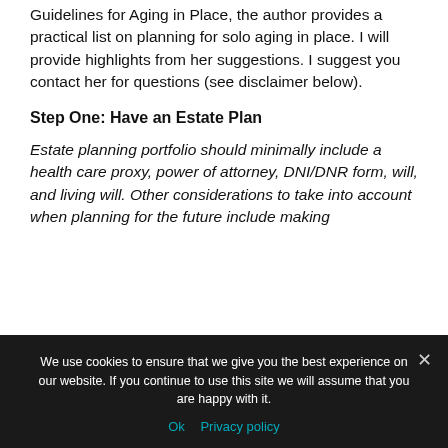Guidelines for Aging in Place, the author provides a practical list on planning for solo aging in place. I will provide highlights from her suggestions. I suggest you contact her for questions (see disclaimer below).
Step One: Have an Estate Plan
Estate planning portfolio should minimally include a health care proxy, power of attorney, DNI/DNR form, will, and living will. Other considerations to take into account when planning for the future include making
We use cookies to ensure that we give you the best experience on our website. If you continue to use this site we will assume that you are happy with it.
Ok   Privacy policy